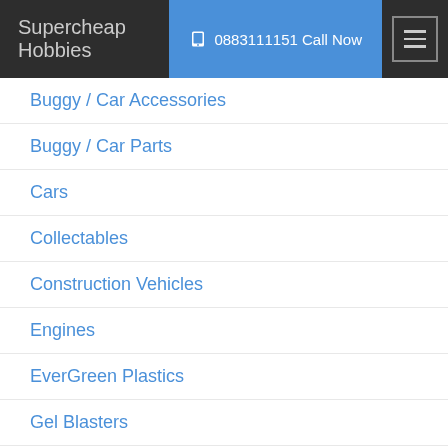Supercheap Hobbies  📞 0883111151 Call Now
Buggy / Car Accessories
Buggy / Car Parts
Cars
Collectables
Construction Vehicles
Engines
EverGreen Plastics
Gel Blasters
Glues, Covering & Sealers
Helicopters
Jigsaw Puzzles
Kites
Mechanix / Blix